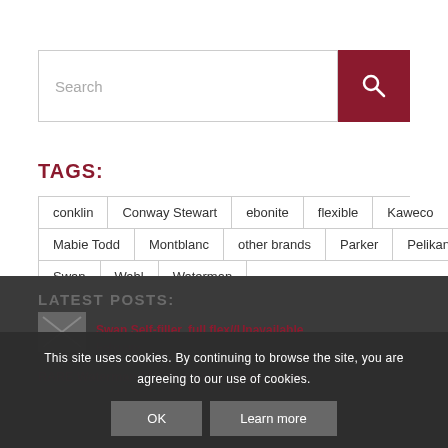Search
TAGS:
conklin
Conway Stewart
ebonite
flexible
Kaweco
Mabie Todd
Montblanc
other brands
Parker
Pelikan
Swan
Wahl
Waterman
LATEST POSTS:
Swan Self-filler, full flex//Unavailable
February …
RARE Waterman 51V, flexible nib//unavailable
This site uses cookies. By continuing to browse the site, you are agreeing to our use of cookies.